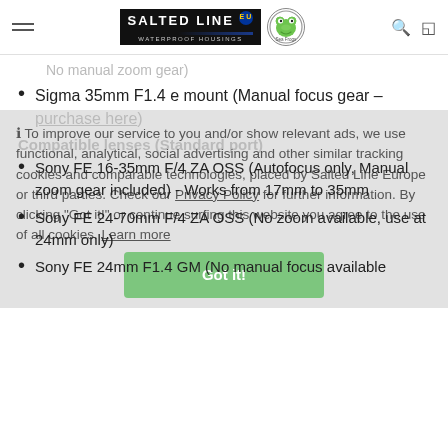[Figure (logo): Salted Line EU waterproof housings logo with frog Sea Frogs badge]
No manual zoom gear)
Sigma 35mm F1.4 e mount (Manual focus gear - purchase here)
Compatible lenses (Standard port)
Sony FE 16-35mm F/4 ZA OSS (Autofocus only, Manual zoom gear included) - Works from 17mm to 35mm
Sony FE 24-70mm F/4 ZA OSS (No zoom available, use at 24mm only)
Sony FE 24mm F1.4 GM (No manual focus available
ℹ To improve our service to you and/or show relevant ads, we use functional, analytical, social advertising and other similar tracking cookies and comparable technologies, placed by Salted Line Europe or third parties. Check our Privacy Policy for further information. By clicking "Got it!" or continue surfing this website you agree to the use of all cookies. Learn more
Got it!